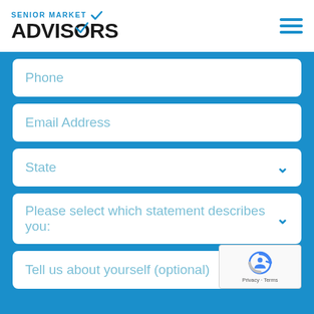[Figure (logo): Senior Market Advisors logo with blue checkmark and hamburger menu icon]
Phone
Email Address
State
Please select which statement describes you:
Tell us about yourself (optional)
[Figure (logo): reCAPTCHA badge with Privacy and Terms links]